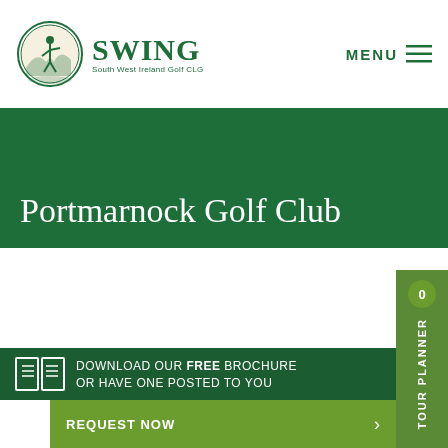[Figure (logo): SWING South West Ireland Golf CLG logo with circular emblem and golfer illustration]
MENU
Portmarnock Golf Club
DOWNLOAD OUR FREE BROCHURE OR HAVE ONE POSTED TO YOU
REQUEST NOW
0 TOUR PLANNER